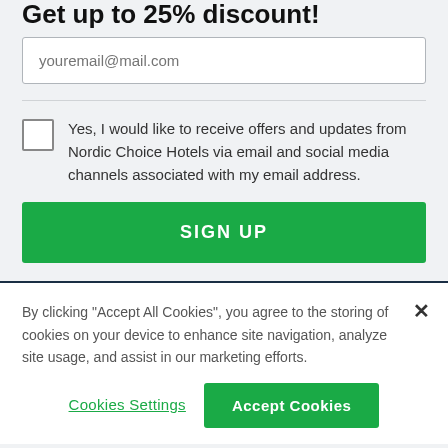Get up to 25% discount!
youremail@mail.com
Yes, I would like to receive offers and updates from Nordic Choice Hotels via email and social media channels associated with my email address.
SIGN UP
By clicking “Accept All Cookies”, you agree to the storing of cookies on your device to enhance site navigation, analyze site usage, and assist in our marketing efforts.
Cookies Settings
Accept Cookies